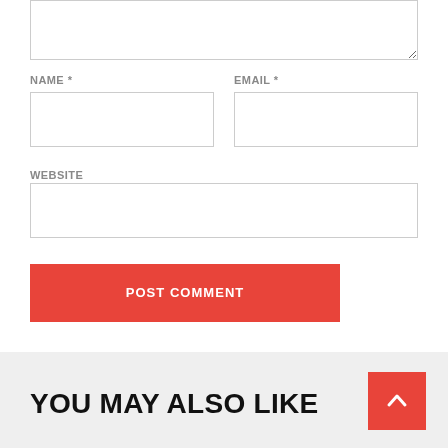NAME *
EMAIL *
WEBSITE
POST COMMENT
YOU MAY ALSO LIKE